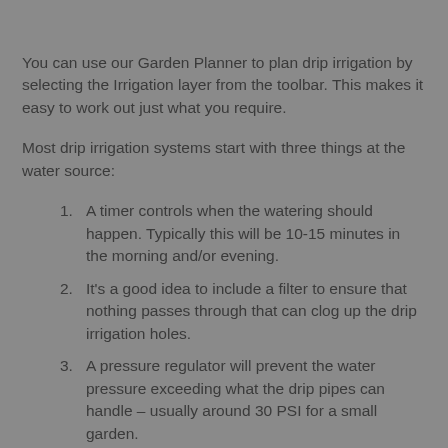You can use our Garden Planner to plan drip irrigation by selecting the Irrigation layer from the toolbar. This makes it easy to work out just what you require.
Most drip irrigation systems start with three things at the water source:
A timer controls when the watering should happen. Typically this will be 10-15 minutes in the morning and/or evening.
It's a good idea to include a filter to ensure that nothing passes through that can clog up the drip irrigation holes.
A pressure regulator will prevent the water pressure exceeding what the drip pipes can handle – usually around 30 PSI for a small garden.